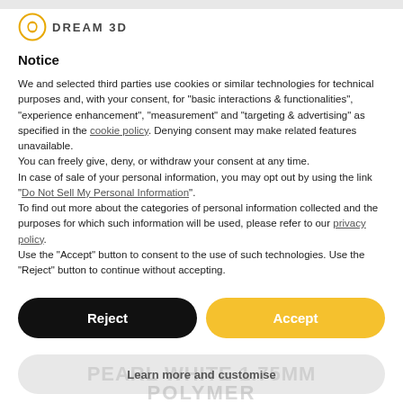[Figure (logo): Dream3D logo with circular icon and bold text 'DREAM 3D']
Notice
We and selected third parties use cookies or similar technologies for technical purposes and, with your consent, for "basic interactions & functionalities", "experience enhancement", "measurement" and "targeting & advertising" as specified in the cookie policy. Denying consent may make related features unavailable.
You can freely give, deny, or withdraw your consent at any time.
In case of sale of your personal information, you may opt out by using the link "Do Not Sell My Personal Information".
To find out more about the categories of personal information collected and the purposes for which such information will be used, please refer to our privacy policy.
Use the "Accept" button to consent to the use of such technologies. Use the "Reject" button to continue without accepting.